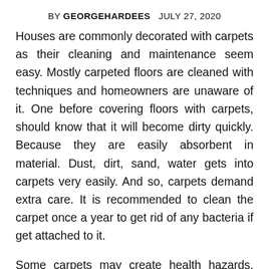BY GEORGEHARDEES  JULY 27, 2020
Houses are commonly decorated with carpets as their cleaning and maintenance seem easy. Mostly carpeted floors are cleaned with techniques and homeowners are unaware of it. One before covering floors with carpets, should know that it will become dirty quickly. Because they are easily absorbent in material. Dust, dirt, sand, water gets into carpets very easily. And so, carpets demand extra care. It is recommended to clean the carpet once a year to get rid of any bacteria if get attached to it.
Some carpets may create health hazards. Dust that remained within floor covering may be hazardous for asthmatic patients and doctors